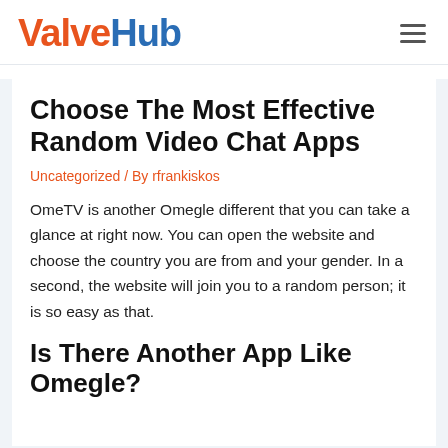ValveHub
Choose The Most Effective Random Video Chat Apps
Uncategorized / By rfrankiskos
OmeTV is another Omegle different that you can take a glance at right now. You can open the website and choose the country you are from and your gender. In a second, the website will join you to a random person; it is so easy as that.
Is There Another App Like Omegle?